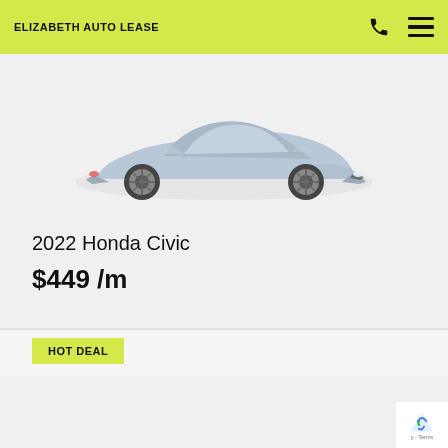ELIZABETH AUTO LEASE
[Figure (photo): Silver 2022 Honda Civic sedan, front three-quarter view on light gray background]
2022 Honda Civic
$449 /m
HOT DEAL
[Figure (photo): Dark navy blue Cadillac sedan, front three-quarter view on light gray background]